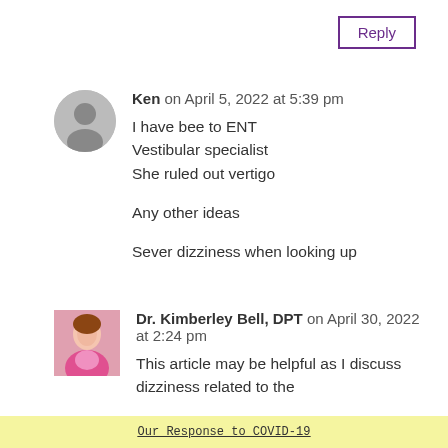Reply
Ken on April 5, 2022 at 5:39 pm
I have bee to ENT
Vestibular specialist
She ruled out vertigo

Any other ideas

Sever dizziness when looking up
Dr. Kimberley Bell, DPT on April 30, 2022 at 2:24 pm
This article may be helpful as I discuss dizziness related to the
Our Response to COVID-19